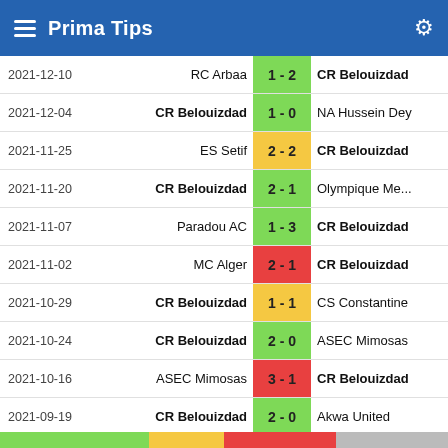Prima Tips
| Date | Home | Score | Away |
| --- | --- | --- | --- |
| 2021-12-10 | RC Arbaa | 1 - 2 | CR Belouizdad |
| 2021-12-04 | CR Belouizdad | 1 - 0 | NA Hussein Dey |
| 2021-11-25 | ES Setif | 2 - 2 | CR Belouizdad |
| 2021-11-20 | CR Belouizdad | 2 - 1 | Olympique Me... |
| 2021-11-07 | Paradou AC | 1 - 3 | CR Belouizdad |
| 2021-11-02 | MC Alger | 2 - 1 | CR Belouizdad |
| 2021-10-29 | CR Belouizdad | 1 - 1 | CS Constantine |
| 2021-10-24 | CR Belouizdad | 2 - 0 | ASEC Mimosas |
| 2021-10-16 | ASEC Mimosas | 3 - 1 | CR Belouizdad |
| 2021-09-19 | CR Belouizdad | 2 - 0 | Akwa United |